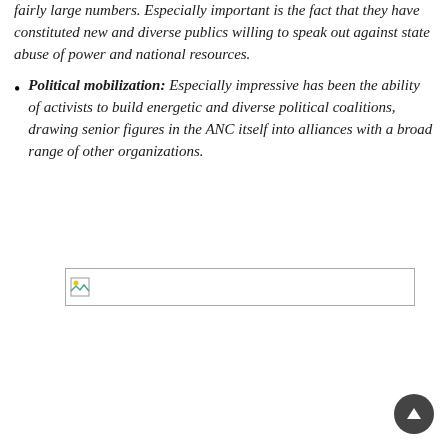fairly large numbers. Especially important is the fact that they have constituted new and diverse publics willing to speak out against state abuse of power and national resources.
Political mobilization: Especially impressive has been the ability of activists to build energetic and diverse political coalitions, drawing senior figures in the ANC itself into alliances with a broad range of other organizations.
[Figure (other): Image placeholder (broken image icon) within a rectangular border]